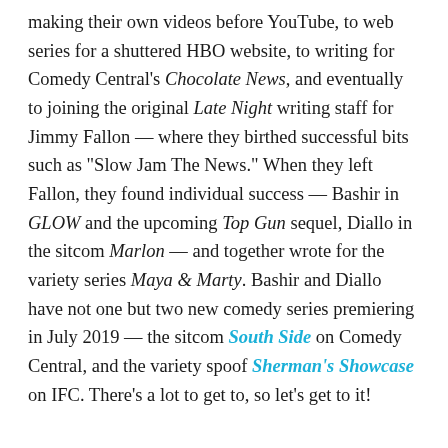making their own videos before YouTube, to web series for a shuttered HBO website, to writing for Comedy Central's Chocolate News, and eventually to joining the original Late Night writing staff for Jimmy Fallon — where they birthed successful bits such as "Slow Jam The News." When they left Fallon, they found individual success — Bashir in GLOW and the upcoming Top Gun sequel, Diallo in the sitcom Marlon — and together wrote for the variety series Maya & Marty. Bashir and Diallo have not one but two new comedy series premiering in July 2019 — the sitcom South Side on Comedy Central, and the variety spoof Sherman's Showcase on IFC. There's a lot to get to, so let's get to it!